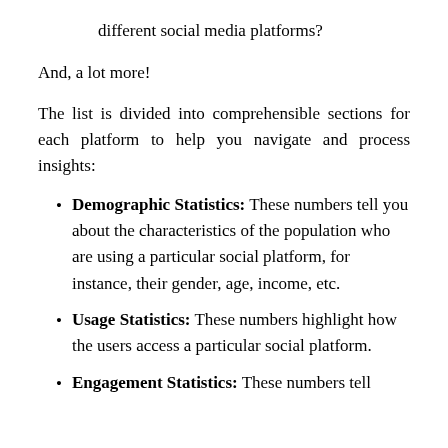different social media platforms?
And, a lot more!
The list is divided into comprehensible sections for each platform to help you navigate and process insights:
Demographic Statistics: These numbers tell you about the characteristics of the population who are using a particular social platform, for instance, their gender, age, income, etc.
Usage Statistics: These numbers highlight how the users access a particular social platform.
Engagement Statistics: These numbers tell